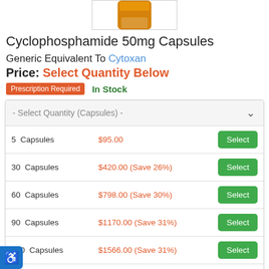[Figure (photo): Partial view of an amber/orange prescription bottle at the top of the page]
Cyclophosphamide 50mg Capsules
Generic Equivalent To Cytoxan
Price: Select Quantity Below
Prescription Required   In Stock
| Quantity | Price | Action |
| --- | --- | --- |
| - Select Quantity (Capsules) - |  |  |
| 5  Capsules | $95.00 | Select |
| 30  Capsules | $420.00 (Save 26%) | Select |
| 60  Capsules | $798.00 (Save 30%) | Select |
| 90  Capsules | $1170.00 (Save 31%) | Select |
| 120  Capsules | $1566.00 (Save 31%) | Select |
| Custom Capsule Quantity |  | Select |